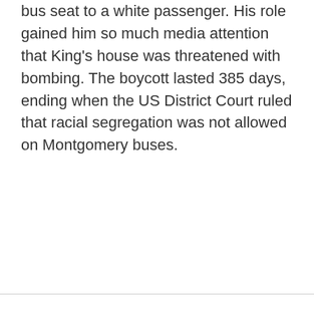bus seat to a white passenger. His role gained him so much media attention that King's house was threatened with bombing. The boycott lasted 385 days, ending when the US District Court ruled that racial segregation was not allowed on Montgomery buses.